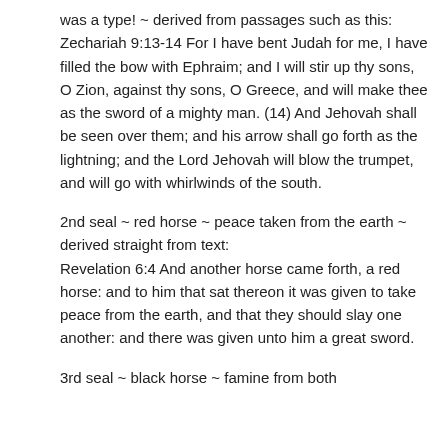was a type! ~ derived from passages such as this:
Zechariah 9:13-14 For I have bent Judah for me, I have filled the bow with Ephraim; and I will stir up thy sons, O Zion, against thy sons, O Greece, and will make thee as the sword of a mighty man. (14) And Jehovah shall be seen over them; and his arrow shall go forth as the lightning; and the Lord Jehovah will blow the trumpet, and will go with whirlwinds of the south.
2nd seal ~ red horse ~ peace taken from the earth ~ derived straight from text:
Revelation 6:4 And another horse came forth, a red horse: and to him that sat thereon it was given to take peace from the earth, and that they should slay one another: and there was given unto him a great sword.
3rd seal ~ black horse ~ famine from both